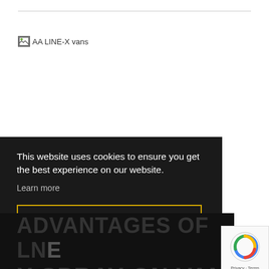[Figure (other): Broken image placeholder labeled 'AA LINE-X vans']
This website uses cookies to ensure you get the best experience on our website.
Learn more
Got it!
ADVANTAGES OF LINE-X SPRAY-ON VAN LINING
[Figure (other): reCAPTCHA widget with Privacy · Terms]